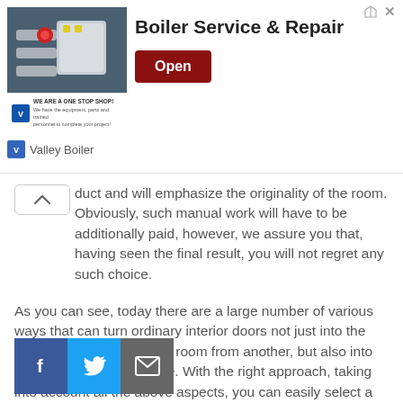[Figure (screenshot): Advertisement banner for Boiler Service & Repair by Valley Boiler, with industrial boiler image on left, bold title text in center, and a dark red 'Open' button on the right. Corner has ad attribution icons.]
duct and will emphasize the originality of the room. Obviously, such manual work will have to be additionally paid, however, we assure you that, having seen the final result, you will not regret any such choice.
As you can see, today there are a large number of various ways that can turn ordinary interior doors not just into the subject of isolation of one room from another, but also into the highlight of your home. With the right approach, taking into account all the above aspects, you can easily select a canvas that fits perfectly into your interior and will serve you for more than a dozen years.
[Figure (other): Social sharing buttons bar with Facebook (blue), Twitter (light blue), and email/envelope (grey) icons.]